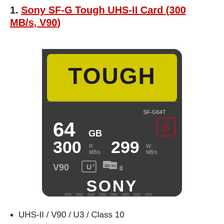1. Sony SF-G Tough UHS-II Card (300 MB/s, V90)
[Figure (photo): Sony SF-G Tough UHS-II SD card, 64GB, 300 MB/s read, 299 MB/s write, V90, U3, SDXC II]
UHS-II / V90 / U3 / Class 10